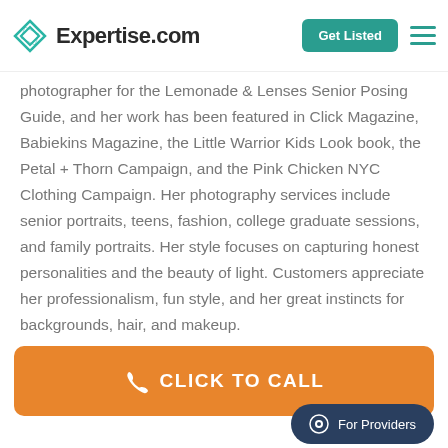Expertise.com — Get Listed
photographer for the Lemonade & Lenses Senior Posing Guide, and her work has been featured in Click Magazine, Babiekins Magazine, the Little Warrior Kids Look book, the Petal + Thorn Campaign, and the Pink Chicken NYC Clothing Campaign. Her photography services include senior portraits, teens, fashion, college graduate sessions, and family portraits. Her style focuses on capturing honest personalities and the beauty of light. Customers appreciate her professionalism, fun style, and her great instincts for backgrounds, hair, and makeup.
[Figure (other): Orange CLICK TO CALL button and teal For Providers chat pill button at the bottom of the page]